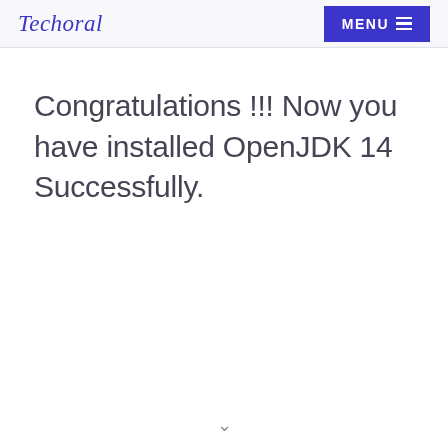Techoral   MENU
Congratulations !!! Now you have installed OpenJDK 14 Successfully.